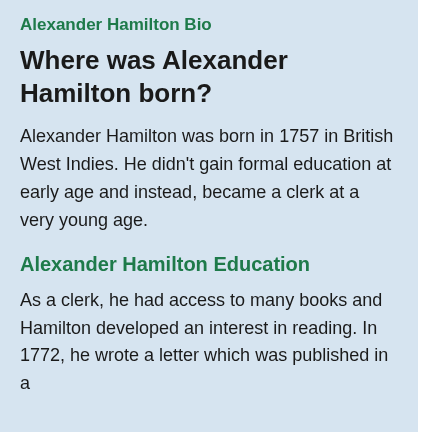Alexander Hamilton Bio
Where was Alexander Hamilton born?
Alexander Hamilton was born in 1757 in British West Indies. He didn't gain formal education at early age and instead, became a clerk at a very young age.
Alexander Hamilton Education
As a clerk, he had access to many books and Hamilton developed an interest in reading. In 1772, he wrote a letter which was published in a